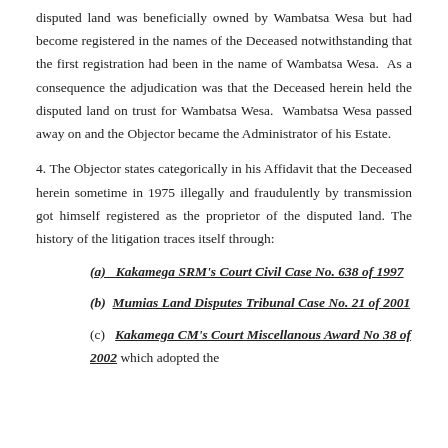disputed land was beneficially owned by Wambatsa Wesa but had become registered in the names of the Deceased notwithstanding that the first registration had been in the name of Wambatsa Wesa. As a consequence the adjudication was that the Deceased herein held the disputed land on trust for Wambatsa Wesa. Wambatsa Wesa passed away on and the Objector became the Administrator of his Estate.
4. The Objector states categorically in his Affidavit that the Deceased herein sometime in 1975 illegally and fraudulently by transmission got himself registered as the proprietor of the disputed land. The history of the litigation traces itself through:
(a) Kakamega SRM's Court Civil Case No. 638 of 1997
(b) Mumias Land Disputes Tribunal Case No. 21 of 2001
(c) Kakamega CM's Court Miscellanous Award No 38 of 2002 which adopted the